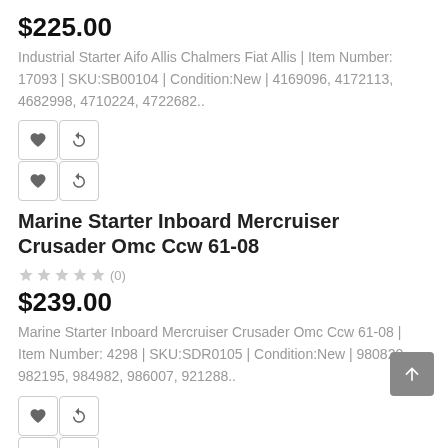$225.00
Industrial Starter Aifo Allis Chalmers Fiat Allis | Item Number: 17093 | SKU:SB00104 | Condition:New | 4169096, 4172113, 4682998, 4710224, 4722682..
[Figure (other): 2x2 grid of icon buttons: heart and refresh icons]
Marine Starter Inboard Mercruiser Crusader Omc Ccw 61-08
★★★★★ (0)
$239.00
Marine Starter Inboard Mercruiser Crusader Omc Ccw 61-08 | Item Number: 4298 | SKU:SDR0105 | Condition:New | 980820, 982195, 984982, 986007, 921288..
[Figure (other): 2x2 grid of icon buttons: heart and refresh icons]
Marine Starter Mercruiser 3.0-8.2L 96-On